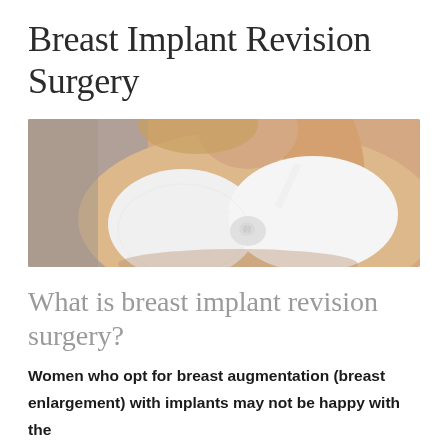Breast Implant Revision Surgery
[Figure (photo): Woman in white bra with arm raised, torso and chest visible against light gray background, blonde hair]
What is breast implant revision surgery?
Women who opt for breast augmentation (breast enlargement) with implants may not be happy with the results for a number of reasons: The implants' shape, size and/or placement may be problematic, or postsurgical